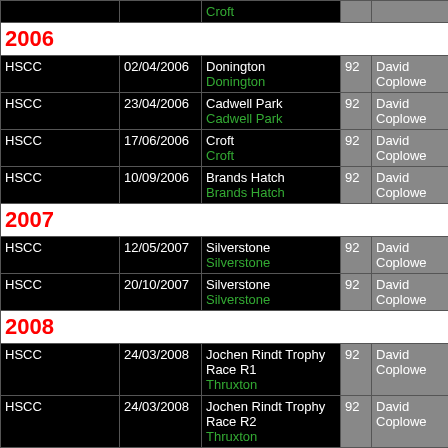| Organisation | Date | Race/Circuit | No | Driver | Result |
| --- | --- | --- | --- | --- | --- |
|  |  | Croft |  |  |  |
| 2006 |  |  |  |  |  |
| HSCC | 02/04/2006 | Donington
Donington | 92 | David Coplowe |  |
| HSCC | 23/04/2006 | Cadwell Park
Cadwell Park | 92 | David Coplowe |  |
| HSCC | 17/06/2006 | Croft
Croft | 92 | David Coplowe |  |
| HSCC | 10/09/2006 | Brands Hatch
Brands Hatch | 92 | David Coplowe |  |
| 2007 |  |  |  |  |  |
| HSCC | 12/05/2007 | Silverstone
Silverstone | 92 | David Coplowe |  |
| HSCC | 20/10/2007 | Silverstone
Silverstone | 92 | David Coplowe |  |
| 2008 |  |  |  |  |  |
| HSCC | 24/03/2008 | Jochen Rindt Trophy Race R1
Thruxton | 92 | David Coplowe |  |
| HSCC | 24/03/2008 | Jochen Rindt Trophy Race R2
Thruxton | 92 | David Coplowe |  |
| 2010 |  |  |  |  |  |
| HSCC | 03/07/2010 | Brands Hatch R1
Brands Hatch | 4 | David Coplowe |  |
| HSCC | 07/08/2010 | Croft R1 | 92 | David Coplowe |  |